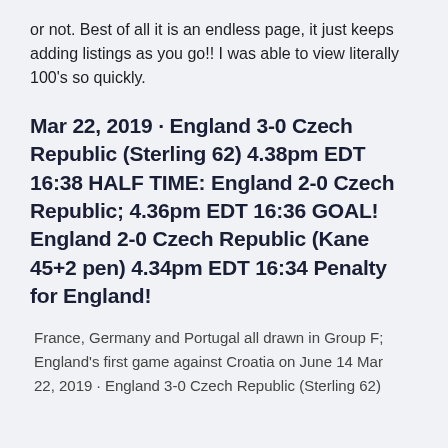or not. Best of all it is an endless page, it just keeps adding listings as you go!! I was able to view literally 100's so quickly.
Mar 22, 2019 · England 3-0 Czech Republic (Sterling 62) 4.38pm EDT 16:38 HALF TIME: England 2-0 Czech Republic; 4.36pm EDT 16:36 GOAL! England 2-0 Czech Republic (Kane 45+2 pen) 4.34pm EDT 16:34 Penalty for England!
France, Germany and Portugal all drawn in Group F; England's first game against Croatia on June 14 Mar 22, 2019 · England 3-0 Czech Republic (Sterling 62)